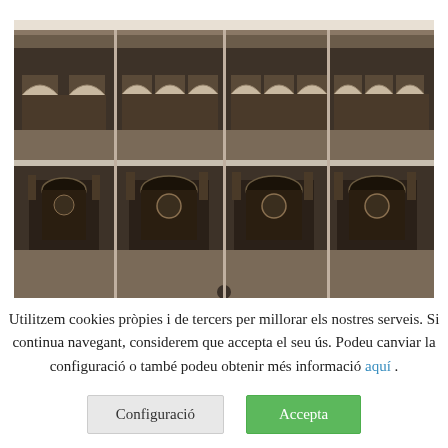[Figure (photo): Black-and-white photograph showing a historical building facade with arched colonnades and decorative ironwork gates/lanterns, presented as a grid of photographic panels on a light background.]
Utilitzem cookies pròpies i de tercers per millorar els nostres serveis. Si continua navegant, considerem que accepta el seu ús. Podeu canviar la configuració o també podeu obtenir més informació aquí .
Configuració
Accepta